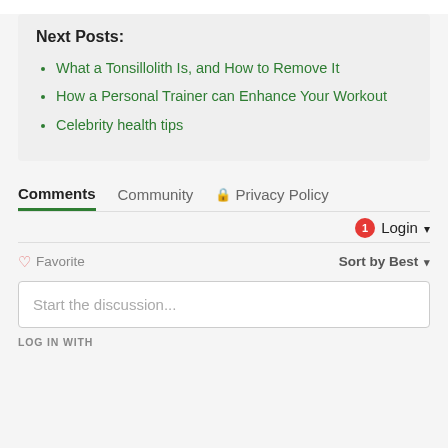Next Posts:
What a Tonsillolith Is, and How to Remove It
How a Personal Trainer can Enhance Your Workout
Celebrity health tips
Comments  Community  🔒 Privacy Policy
Login
♡ Favorite   Sort by Best
Start the discussion...
LOG IN WITH